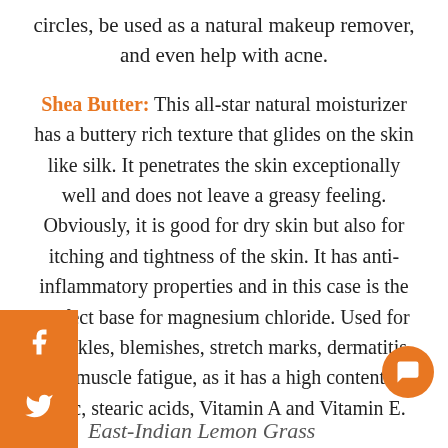circles, be used as a natural makeup remover, and even help with acne.
Shea Butter: This all-star natural moisturizer has a buttery rich texture that glides on the skin like silk. It penetrates the skin exceptionally well and does not leave a greasy feeling. Obviously, it is good for dry skin but also for itching and tightness of the skin. It has anti-inflammatory properties and in this case is the perfect base for magnesium chloride. Used for wrinkles, blemishes, stretch marks, dermatitis and muscle fatigue, as it has a high content of oleic, stearic acids, Vitamin A and Vitamin E.
East-Indian Lemon Grass